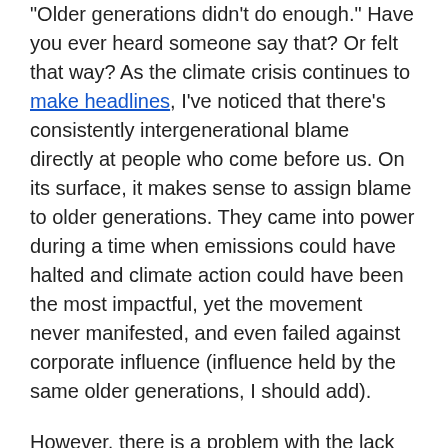“Older generations didn’t do enough.” Have you ever heard someone say that? Or felt that way? As the climate crisis continues to make headlines, I’ve noticed that there’s consistently intergenerational blame directly at people who come before us. On its surface, it makes sense to assign blame to older generations. They came into power during a time when emissions could have halted and climate action could have been the most impactful, yet the movement never manifested, and even failed against corporate influence (influence held by the same older generations, I should add).
However, there is a problem with the lack of specificity in saying “older generations” and assigning blame in an ageist manner. If we want to be precise, we shouldn’t say “older generations didn’t do enough”. We should say “leaders in large-scale corporations like the fossil fuel sectors have created